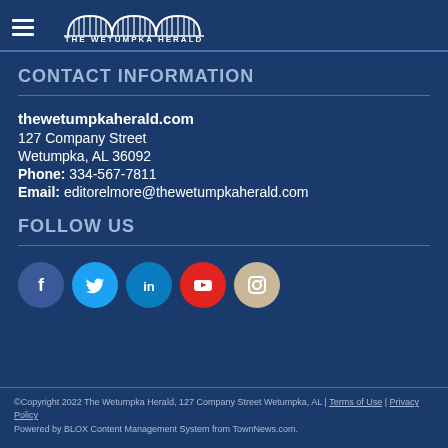The Wetumpka Herald
CONTACT INFORMATION
thewetumpkaherald.com
127 Company Street
Wetumpka, AL 36092
Phone: 334-567-7811
Email: editorelmore@thewetumpkaherald.com
FOLLOW US
[Figure (illustration): Row of five social media icons: Facebook (dark blue), Twitter (light blue), LinkedIn (teal blue), YouTube (red), Instagram (tan/beige)]
©Copyright 2022 The Wetumpka Herald, 127 Company Street Wetumpka, AL | Terms of Use | Privacy Policy
Powered by BLOX Content Management System from TownNews.com.